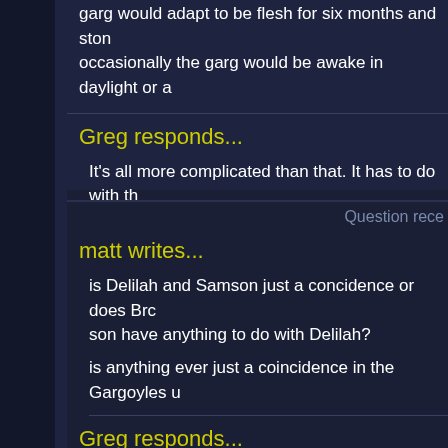garg would adapt to be flesh for six months and ston occasionally the garg would be awake in daylight or a
Greg responds...
It's all more complicated than that. It has to do with th etc.
Question rece
matt writes...
is Delilah and Samson just a concidence or does Bro son have anything to do with Delilah?
is anything ever just a coincidence in the Gargoyles u
Greg responds...
Few things are just a coincidence in the garg univers Rookery parents to intentionally be Delilah's mate. A as opposed to 2158) Samson is no longer the son